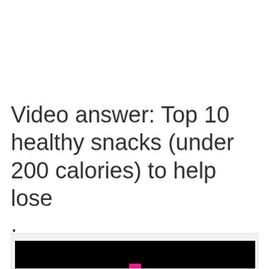Video answer: Top 10 healthy snacks (under 200 calories) to help lose
.
[Figure (screenshot): A video thumbnail or embedded video player showing a black screen with a small pink play/logo element at the bottom center, inside a light gray bordered container.]